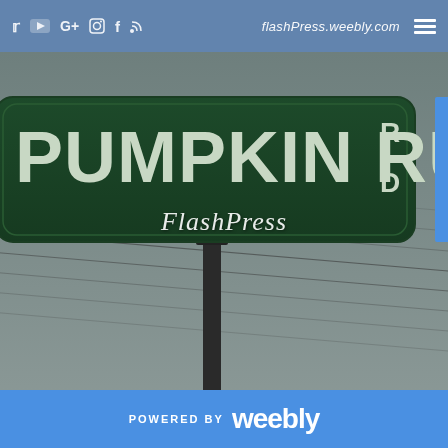flashPress.weebly.com
[Figure (photo): Photo of a green street sign reading 'PUMPKIN RUN RD' on a metal post against a grey overcast sky with power lines visible in the background. FlashPress watermark logo overlaid on the image.]
POWERED BY Weebly